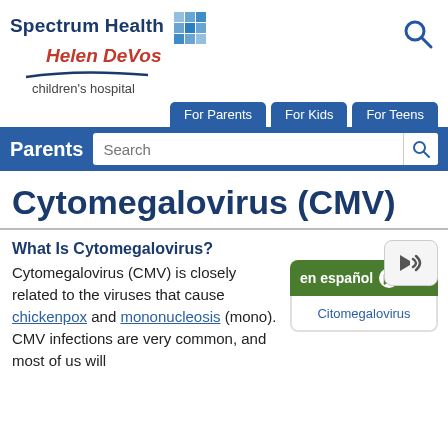Spectrum Health Helen DeVos children's hospital
For Parents | For Kids | For Teens
Parents Search
Cytomegalovirus (CMV)
What Is Cytomegalovirus?
Cytomegalovirus (CMV) is closely related to the viruses that cause chickenpox and mononucleosis (mono). CMV infections are very common, and most of us will
en español Citomegalovirus